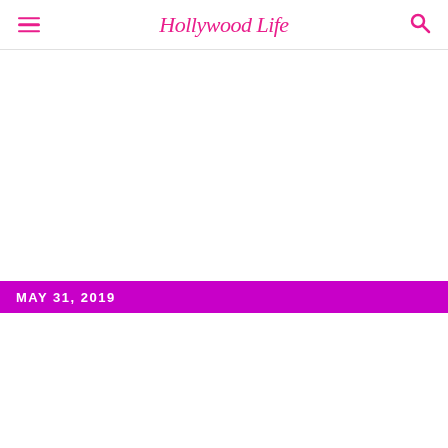HollywoodLife
[Figure (other): Large white/blank content area below header]
MAY 31, 2019
[Figure (other): Lower white content area with close button (X) at bottom right]